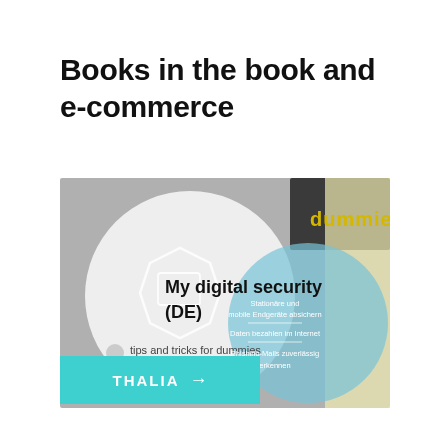Books in the book and e-commerce
[Figure (illustration): Book cover image for 'My digital security (DE)' - tips and tricks for dummies. Shows a grey background with a large white circular overlay containing the text 'My digital security (DE)'. A blue/light-blue circle on the right shows German text about securing devices, internet banking, and phishing. Top right corner shows 'dummies' branding in yellow on dark background. Bottom of left circle reads 'tips and tricks for dummies'.]
[Figure (logo): Thalia button with cyan/turquoise background, white text reading 'THALIA' with a right-pointing arrow.]